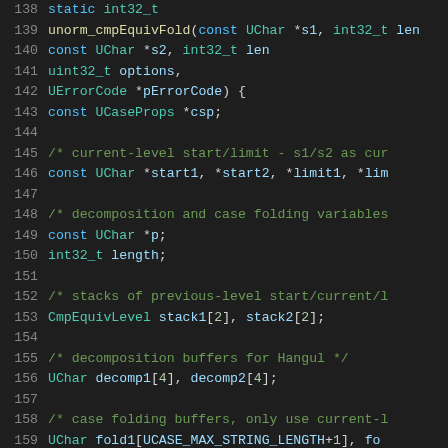[Figure (screenshot): Source code listing in a dark-themed code editor, lines 138-159, showing C/C++ function unorm_cmpEquivFold with variable declarations and comments]